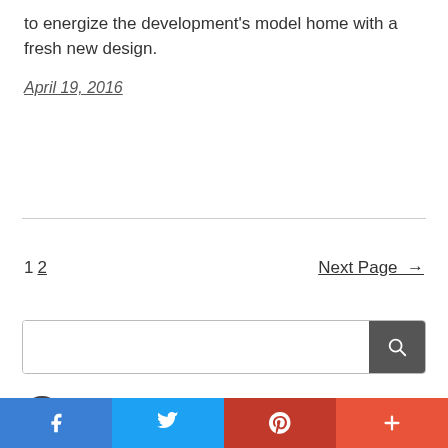to energize the development's model home with a fresh new design.
April 19, 2016
1 2   Next Page →
[Figure (other): Search input box with search button icon]
[Figure (logo): Instagram icon circle logo with text 'santenidesign']
Facebook share | Twitter share | Pinterest share | Plus share